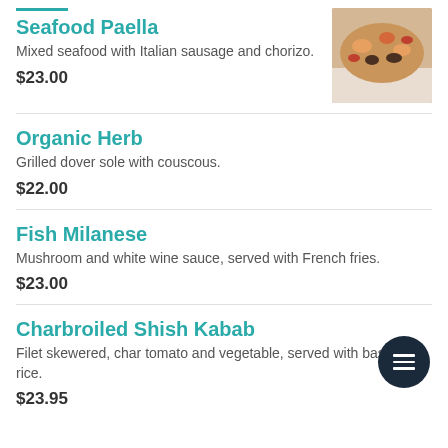Seafood Paella
Mixed seafood with Italian sausage and chorizo.
$23.00
[Figure (photo): Photo of Seafood Paella dish]
Organic Herb
Grilled dover sole with couscous.
$22.00
Fish Milanese
Mushroom and white wine sauce, served with French fries.
$23.00
Charbroiled Shish Kabab
Filet skewered, char tomato and vegetable, served with basmati rice.
$23.95